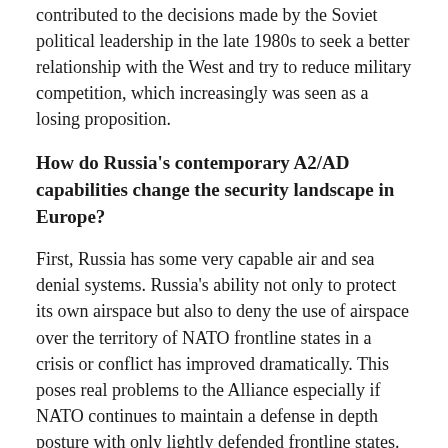contributed to the decisions made by the Soviet political leadership in the late 1980s to seek a better relationship with the West and try to reduce military competition, which increasingly was seen as a losing proposition.
How do Russia's contemporary A2/AD capabilities change the security landscape in Europe?
First, Russia has some very capable air and sea denial systems. Russia's ability not only to protect its own airspace but also to deny the use of airspace over the territory of NATO frontline states in a crisis or conflict has improved dramatically. This poses real problems to the Alliance especially if NATO continues to maintain a defense in depth posture with only lightly defended frontline states.
Second, since the end of the Cold War and especially since the NATO-Russia Founding Act and the adoption of the so called 3 No's ["no intention, no plan and no reason to deploy nuclear weapons on the territory of new